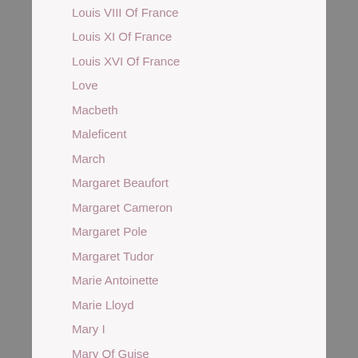Louis VIII Of France
Louis XI Of France
Louis XVI Of France
Love
Macbeth
Maleficent
March
Margaret Beaufort
Margaret Cameron
Margaret Pole
Margaret Tudor
Marie Antoinette
Marie Lloyd
Mary I
Mary Of Guise
Mary Queen Of Scots
Mary Tudor
Mathew Paris
Matilda